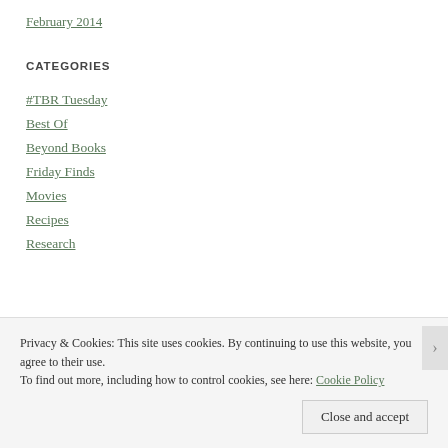February 2014
CATEGORIES
#TBR Tuesday
Best Of
Beyond Books
Friday Finds
Movies
Recipes
Research
Privacy & Cookies: This site uses cookies. By continuing to use this website, you agree to their use.
To find out more, including how to control cookies, see here: Cookie Policy
Close and accept